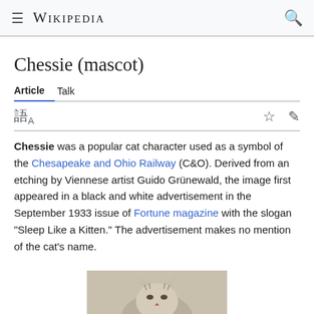Wikipedia
Chessie (mascot)
Article  Talk
Chessie was a popular cat character used as a symbol of the Chesapeake and Ohio Railway (C&O). Derived from an etching by Viennese artist Guido Grünewald, the image first appeared in a black and white advertisement in the September 1933 issue of Fortune magazine with the slogan "Sleep Like a Kitten." The advertisement makes no mention of the cat's name.
[Figure (photo): Partial photo of a cat, bottom portion of page]